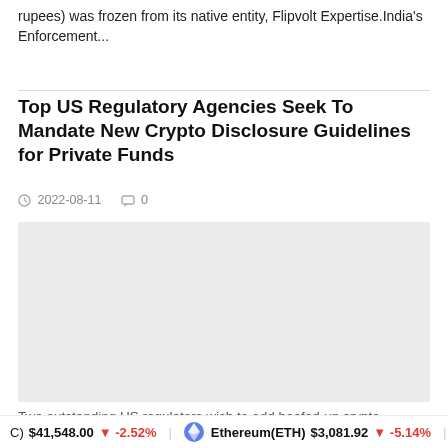rupees) was frozen from its native entity, Flipvolt Expertise.India's Enforcement...
Top US Regulatory Agencies Seek To Mandate New Crypto Disclosure Guidelines for Private Funds
2022-08-11  0
[Figure (photo): Article image placeholder (light gray rectangle)]
Two outstanding US regulators wish to add beefed-up crypto
(C) $41,548.00  -2.52%   Ethereum(ETH) $3,081.92  -5.14%